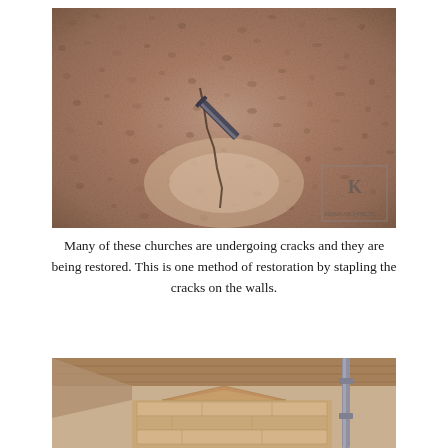[Figure (photo): Close-up photograph of a textured stone or adobe wall with visible cracks. A metal staple or bracket has been inserted across a crack in the wall as a restoration method. A small watermark/logo box is visible in the lower right corner of the photo.]
Many of these churches are undergoing cracks and they are being restored. This is one method of restoration by stapling the cracks on the walls.
[Figure (photo): Photograph taken from below showing stacked stone or adobe blocks under a wooden/metal roof structure with scaffolding visible. The stones are reddish-brown and stacked in a layered formation.]